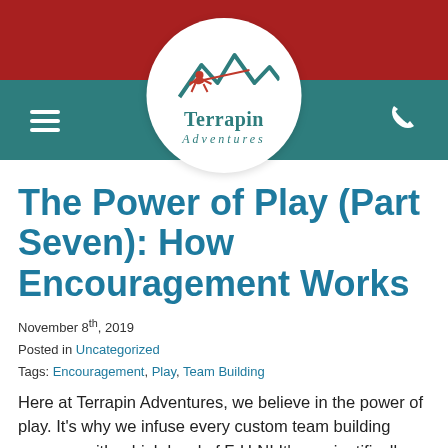[Figure (logo): Terrapin Adventures logo: circular white badge with teal mountain peaks and red zip-lining figure above the text 'Terrapin Adventures' on a two-tone red and teal header bar with hamburger menu and phone icon]
The Power of Play (Part Seven): How Encouragement Works
November 8th, 2019
Posted in Uncategorized
Tags: Encouragement, Play, Team Building
Here at Terrapin Adventures, we believe in the power of play. It’s why we infuse every custom team building program with a high level of F-U-N! It’s a scientifically-